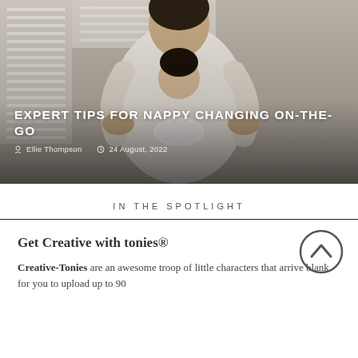[Figure (photo): A person in white clothing holding a baby wearing a diaper, with white shutters/blinds in the background. Photo has warm neutral tones.]
EXPERT TIPS FOR NAPPY CHANGING ON-THE-GO
Ellie Thompson  24 August, 2022
IN THE SPOTLIGHT
Get Creative with tonies®
Creative-Tonies are an awesome troop of little characters that arrive blank for you to upload up to 90